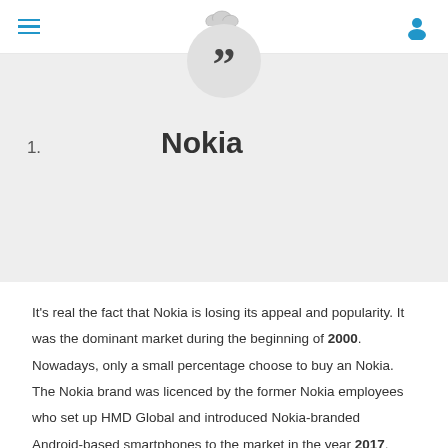Navigation bar with hamburger menu, Z logo, and user icon
[Figure (other): Large bold quotation mark symbol inside a circular grey badge, on a light grey banner background]
1. Nokia
It's real the fact that Nokia is losing its appeal and popularity. It was the dominant market during the beginning of 2000. Nowadays, only a small percentage choose to buy an Nokia. The Nokia brand was licenced by the former Nokia employees who set up HMD Global and introduced Nokia-branded Android-based smartphones to the market in the year 2017. Fans of Nokia remain optimistic that Nokia